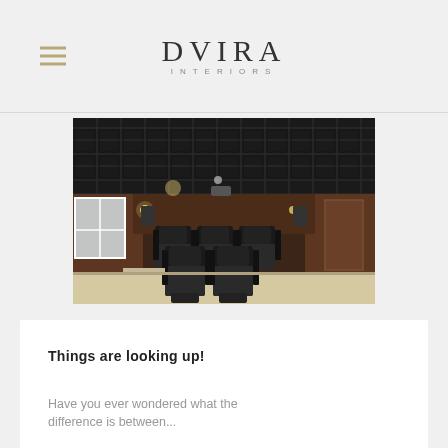DVIRA INTERIORS
[Figure (photo): Interior home theater room with black coffered ceiling, brown walls, dark leather recliner seats arranged in two rows, projector visible, and ambient lighting]
Things are looking up!
Have you ever wondered what the difference is between...